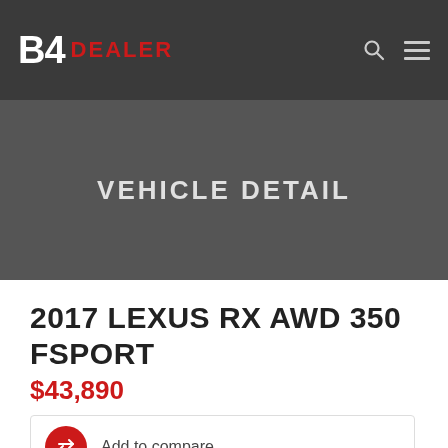B4 DEALER
VEHICLE DETAIL
2017 LEXUS RX AWD 350 FSPORT
$43,890
Add to compare